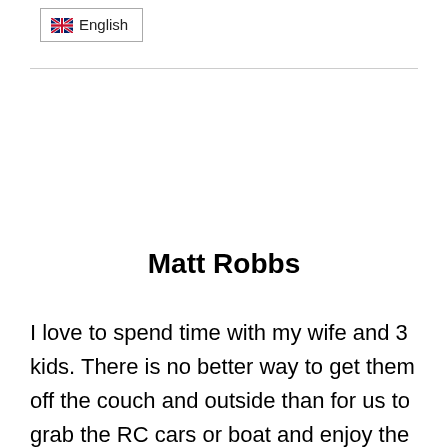[Figure (other): UK flag icon next to 'English' language selector button with border]
Matt Robbs
I love to spend time with my wife and 3 kids. There is no better way to get them off the couch and outside than for us to grab the RC cars or boat and enjoy the